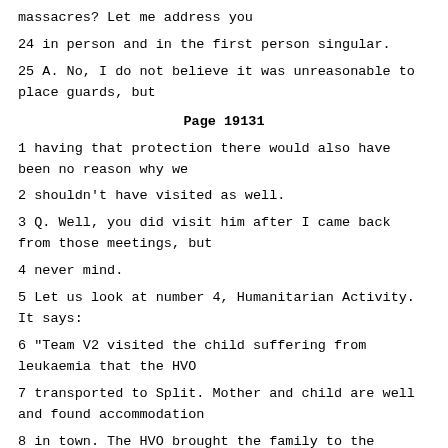massacres? Let me address you
24 in person and in the first person singular.
25 A. No, I do not believe it was unreasonable to place guards, but
Page 19131
1 having that protection there would also have been no reason why we
2 shouldn't have visited as well.
3 Q. Well, you did visit him after I came back from those meetings, but
4 never mind.
5 Let us look at number 4, Humanitarian Activity. It says:
6 "Team V2 visited the child suffering from leukaemia that the HVO
7 transported to Split. Mother and child are well and found accommodation
8 in town. The HVO brought the family to the hospital and left them there
9 without extending any assistance as had been agreed